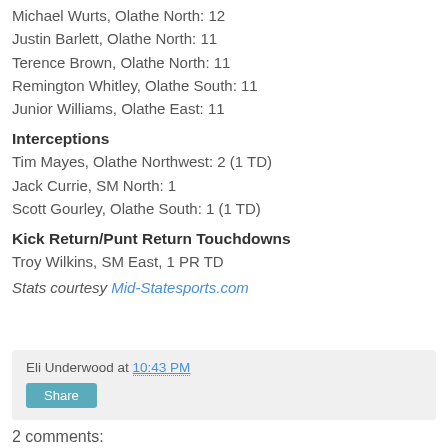Michael Wurts, Olathe North: 12
Justin Barlett, Olathe North: 11
Terence Brown, Olathe North: 11
Remington Whitley, Olathe South: 11
Junior Williams, Olathe East: 11
Interceptions
Tim Mayes, Olathe Northwest: 2 (1 TD)
Jack Currie, SM North: 1
Scott Gourley, Olathe South: 1 (1 TD)
Kick Return/Punt Return Touchdowns
Troy Wilkins, SM East, 1 PR TD
Stats courtesy Mid-Statesports.com
Eli Underwood at 10:43 PM
Share
2 comments: